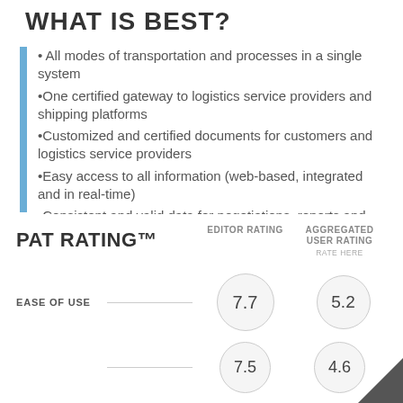WHAT IS BEST?
• All modes of transportation and processes in a single system
•One certified gateway to logistics service providers and shipping platforms
•Customized and certified documents for customers and logistics service providers
•Easy access to all information (web-based, integrated and in real-time)
•Consistent and valid data for negotiations, reports and analyses
PAT RATING™
EDITOR RATING
AGGREGATED USER RATING
RATE HERE
EASE OF USE  7.7  5.2
7.5  4.6